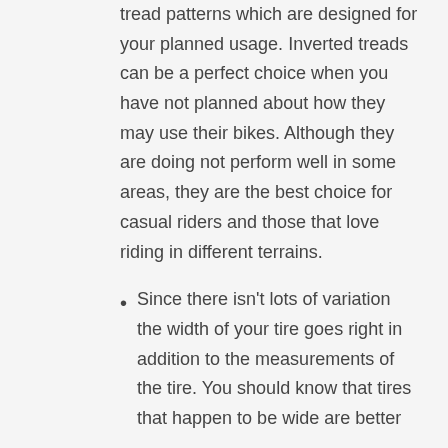tread patterns which are designed for your planned usage. Inverted treads can be a perfect choice when you have not planned about how they may use their bikes. Although they are doing not perform well in some areas, they are the best choice for casual riders and those that love riding in different terrains.
Since there isn't lots of variation the width of your tire goes right in addition to the measurements of the tire. You should know that tires that happen to be wide are better